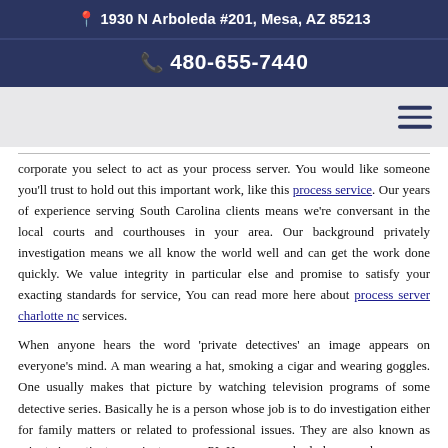📍 1930 N Arboleda #201, Mesa, AZ 85213
📞 480-655-7440
corporate you select to act as your process server. You would like someone you'll trust to hold out this important work, like this process service. Our years of experience serving South Carolina clients means we're conversant in the local courts and courthouses in your area. Our background privately investigation means we all know the world well and can get the work done quickly. We value integrity in particular else and promise to satisfy your exacting standards for service, You can read more here about process server charlotte nc services.
When anyone hears the word 'private detectives' an image appears on everyone's mind. A man wearing a hat, smoking a cigar and wearing goggles. One usually makes that picture by watching television programs of some detective series. Basically he is a person whose job is to do investigation either for family matters or related to professional issues. They are also known as private investigators, private eye or PI. However, nobody knows when anyone would happen to require those services of the private